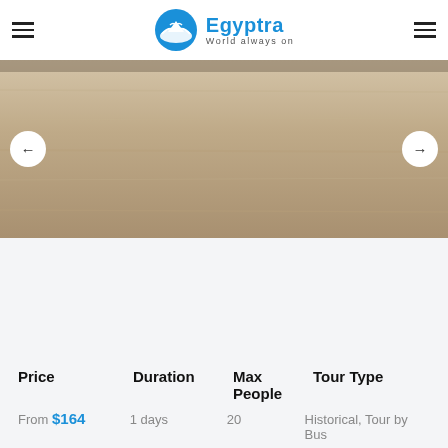Egyptra World always on
[Figure (photo): A photo of a wooden surface or sandy/earthy landscape, serving as a tour banner image with left and right navigation arrows.]
Price  Duration  Max People  Tour Type
From $164  1 days  20  Historical, Tour by Bus